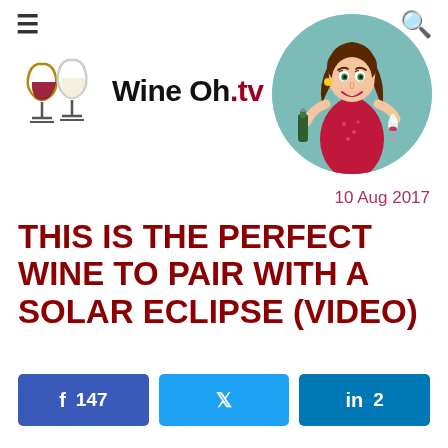≡  🔍
[Figure (logo): Wine Oh.tv logo with two wine glasses (one clear, one red) and bold text 'Wine Oh.tv']
[Figure (illustration): Circular mascot illustration of a cartoon woman in a red dress holding a wine bottle and a glass of red wine, on a teal/green background]
10 Aug 2017
THIS IS THE PERFECT WINE TO PAIR WITH A SOLAR ECLIPSE (VIDEO)
Facebook 147  Twitter  LinkedIn 2